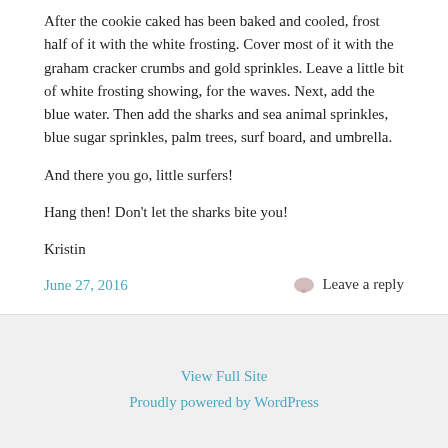After the cookie caked has been baked and cooled, frost half of it with the white frosting. Cover most of it with the graham cracker crumbs and gold sprinkles. Leave a little bit of white frosting showing, for the waves. Next, add the blue water. Then add the sharks and sea animal sprinkles, blue sugar sprinkles, palm trees, surf board, and umbrella.
And there you go, little surfers!
Hang then! Don't let the sharks bite you!
Kristin
June 27, 2016
Leave a reply
View Full Site
Proudly powered by WordPress